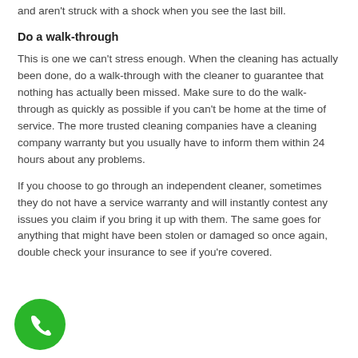and aren't struck with a shock when you see the last bill.
Do a walk-through
This is one we can't stress enough. When the cleaning has actually been done, do a walk-through with the cleaner to guarantee that nothing has actually been missed. Make sure to do the walk-through as quickly as possible if you can't be home at the time of service. The more trusted cleaning companies have a cleaning company warranty but you usually have to inform them within 24 hours about any problems.
If you choose to go through an independent cleaner, sometimes they do not have a service warranty and will instantly contest any issues you claim if you bring it up with them. The same goes for anything that might have been stolen or damaged so once again, double check your insurance to see if you're covered.
[Figure (other): Green circular phone call button]